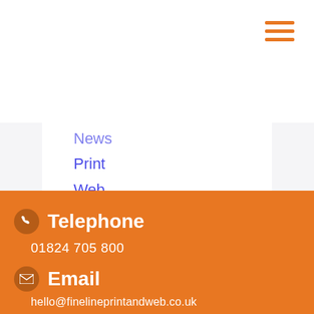[Figure (other): Hamburger menu icon with three orange horizontal lines]
News
Print
Web
Web to Print
Telephone
01824 705 800
Email
hello@finelineprintandweb.co.uk